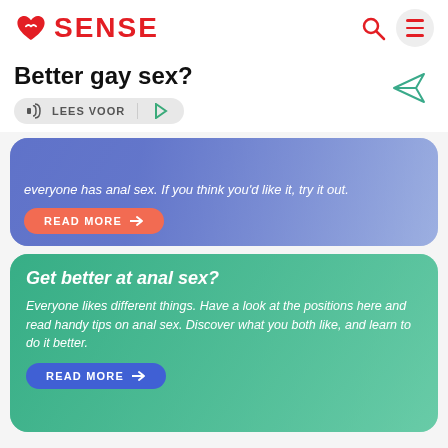SENSE
Better gay sex?
LEES VOOR
everyone has anal sex. If you think you'd like it, try it out.
READ MORE →
Get better at anal sex?
Everyone likes different things. Have a look at the positions here and read handy tips on anal sex. Discover what you both like, and learn to do it better.
READ MORE →